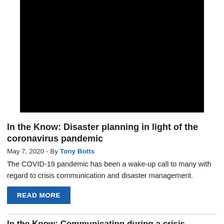[Figure (photo): Black rectangle image placeholder]
In the Know: Disaster planning in light of the coronavirus pandemic
May 7, 2020 - By Tony Botts
The COVID-19 pandemic has been a wake-up call to many with regard to crisis communication and disaster management.
READ MORE
In the Know: Communicating during a crisis